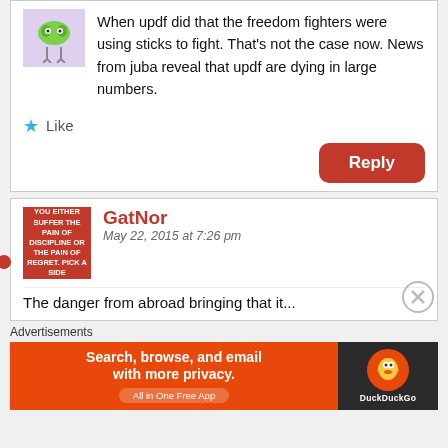When updf did that the freedom fighters were using sticks to fight. That's not the case now. News from juba reveal that updf are dying in large numbers.
Like
Reply
GatNor
May 22, 2015 at 7:26 pm
Advertisements
[Figure (screenshot): DuckDuckGo ad banner: Search, browse, and email with more privacy. All in One Free App. Orange background with DuckDuckGo logo on dark right side.]